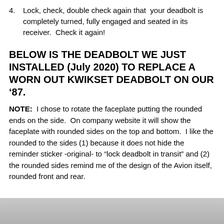4. Lock, check, double check again that your deadbolt is completely turned, fully engaged and seated in its receiver.  Check it again!
BELOW IS THE DEADBOLT WE JUST INSTALLED (July 2020) TO REPLACE A WORN OUT KWIKSET DEADBOLT ON OUR ’87.
NOTE:  I chose to rotate the faceplate putting the rounded ends on the side.  On company website it will show the faceplate with rounded sides on the top and bottom.  I like the rounded to the sides (1) because it does not hide the reminder sticker -original- to “lock deadbolt in transit” and (2) the rounded sides remind me of the design of the Avion itself, rounded front and rear.
[Figure (photo): Bottom portion of a photo, showing a grey/silver surface, likely the deadbolt hardware.]